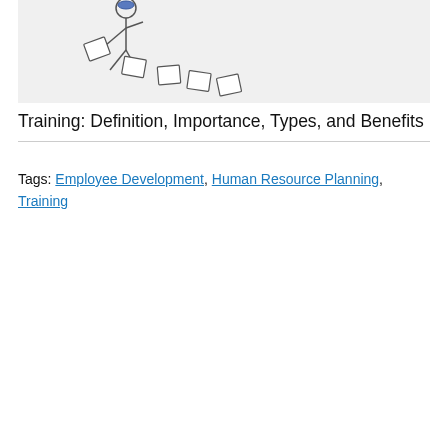[Figure (illustration): A cartoon illustration of a stick figure person dropping or scattering rectangular papers/documents, shown against a light gray background. The papers are scattered in a diagonal trail.]
Training: Definition, Importance, Types, and Benefits
Tags: Employee Development, Human Resource Planning, Training